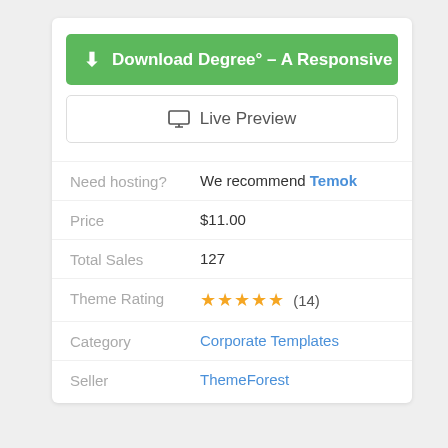Download Degree° - A Responsive HT
Live Preview
Need hosting?   We recommend Temok
Price   $11.00
Total Sales   127
Theme Rating   ★★★★★ (14)
Category   Corporate Templates
Seller   ThemeForest